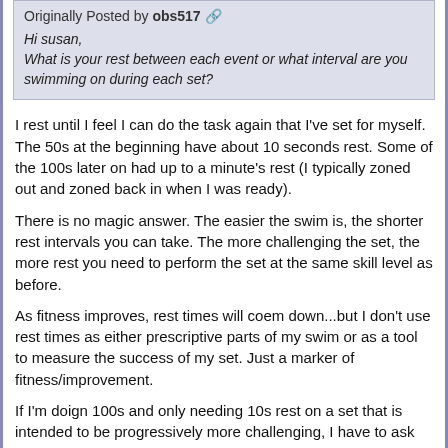Originally Posted by obs517 [link icon]
Hi susan,
What is your rest between each event or what interval are you swimming on during each set?
I rest until I feel I can do the task again that I've set for myself. The 50s at the beginning have about 10 seconds rest. Some of the 100s later on had up to a minute's rest (I typically zoned out and zoned back in when I was ready).
There is no magic answer. The easier the swim is, the shorter rest intervals you can take. The more challenging the set, the more rest you need to perform the set at the same skill level as before.
As fitness improves, rest times will coem down...but I don't use rest times as either prescriptive parts of my swim or as a tool to measure the success of my set. Just a marker of fitness/improvement.
If I'm doign 100s and only needing 10s rest on a set that is intended to be progressively more challenging, I have to ask myself if I'm challenging myself enough.
Suzanne Atkinson, MD
Level 3 USAT Coach
USA Paralympic Triathlon Coach
Coach of 5 time USA Triathlon Triathlete of the Year, Kirsten Sass
Steel City Endurance, LTD